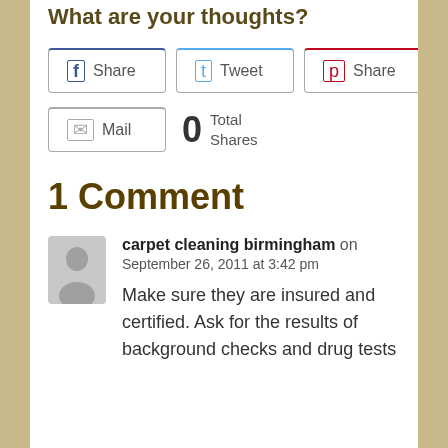What are your thoughts?
[Figure (screenshot): Social sharing buttons row: Facebook Share, Twitter Tweet, Pinterest Share; and below: Mail button with 0 Total Shares counter]
1 Comment
carpet cleaning birmingham on September 26, 2011 at 3:42 pm
Make sure they are insured and certified. Ask for the results of background checks and drug tests